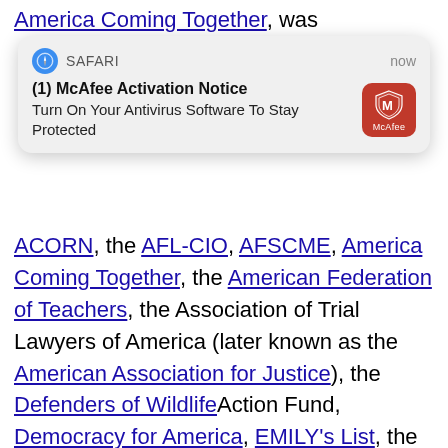[Figure (screenshot): A Safari browser notification overlay showing a McAfee Activation Notice: 'Turn On Your Antivirus Software To Stay Protected', displayed over a Wikipedia-style webpage listing political organizations including ACORN, AFL-CIO, AFSCME, America Coming Together, American Federation of Teachers, Association of Trial Lawyers of America (later known as the American Association for Justice), Defenders of Wildlife Action Fund, Democracy for America, EMILY's List, Human Rights Campaign, League of Conservation Voters, Media Fund, MoveOn.org Political Action, NAACP National Voter Fund, NARAL Pro-Choice America, National Education Association, People for the American Way, Planned Parenthood Action Fund, Service Employees International Union.]
ACORN, the AFL-CIO, AFSCME, America Coming Together, the American Federation of Teachers, the Association of Trial Lawyers of America (later known as the American Association for Justice), the Defenders of Wildlife Action Fund, Democracy for America, EMILY's List, the Human Rights Campaign, the League of Conservation Voters, the Media Fund, MoveOn.org Political Action, the NAACP National Voter Fund, NARAL Pro-Choice America, the National Education Association, People for the American Way, the Planned Parenthood Action Fund, the Service Employees International Union, the